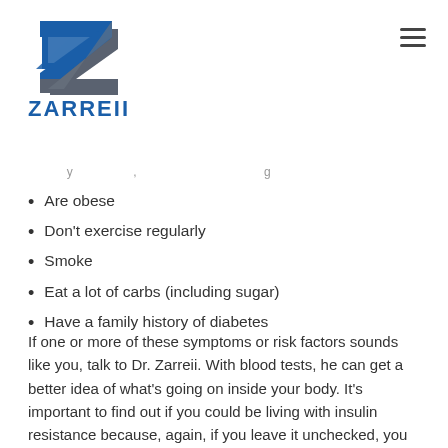[Figure (logo): Zarreii logo with stylized Z graphic in blue and gray, and ZARREII text in blue below]
...y ... ...
Are obese
Don't exercise regularly
Smoke
Eat a lot of carbs (including sugar)
Have a family history of diabetes
If one or more of these symptoms or risk factors sounds like you, talk to Dr. Zarreii. With blood tests, he can get a better idea of what's going on inside your body. It's important to find out if you could be living with insulin resistance because, again, if you leave it unchecked, you could develop diabetes.